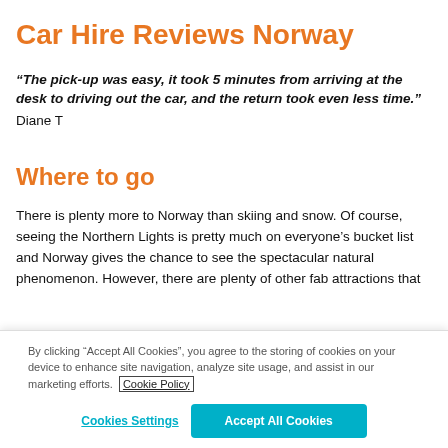Car Hire Reviews Norway
“The pick-up was easy, it took 5 minutes from arriving at the desk to driving out the car, and the return took even less time.” Diane T
Where to go
There is plenty more to Norway than skiing and snow. Of course, seeing the Northern Lights is pretty much on everyone’s bucket list and Norway gives the chance to see the spectacular natural phenomenon. However, there are plenty of other fab attractions that
By clicking “Accept All Cookies”, you agree to the storing of cookies on your device to enhance site navigation, analyze site usage, and assist in our marketing efforts. Cookie Policy
Cookies Settings   Accept All Cookies